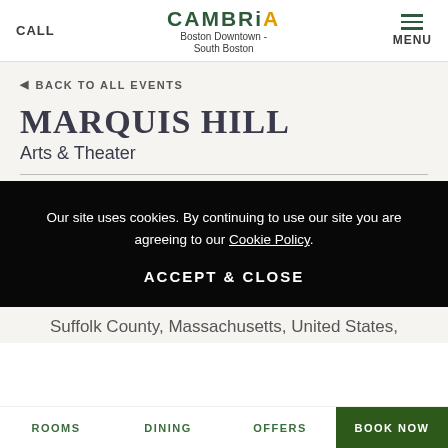CALL | CAMBRiA Boston Downtown - South Boston | MENU
◁ BACK TO ALL EVENTS
MARQUIS HILL
Arts & Theater
Our site uses cookies. By continuing to use our site you are agreeing to our Cookie Policy.
ACCEPT & CLOSE
Suffolk County, Massachusetts, United States,
ROOMS | DINING | OFFERS | BOOK NOW